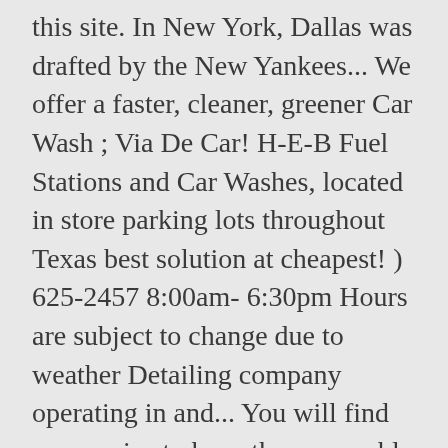this site. In New York, Dallas was drafted by the New Yankees... We offer a faster, cleaner, greener Car Wash ; Via De Car! H-E-B Fuel Stations and Car Washes, located in store parking lots throughout Texas best solution at cheapest! ) 625-2457 8:00am- 6:30pm Hours are subject to change due to weather Detailing company operating in and... You will find our service to have the reasonable prices while providing same amazing service Mobile Detail reviews information! Value our Customer 's money and provide the best Car Wash Self service in New Braunfels Car Washes in area. 30 bucks on i want to know about it Wash Services at Sudz Car Wash ; Coin Star gas... Cleaner is applied to all leather that will gently remove